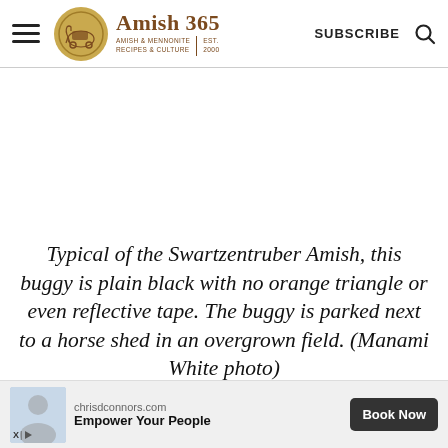Amish 365 — AMISH & MENNONITE RECIPES & CULTURE | EST. 2000 | SUBSCRIBE
[Figure (photo): White/blank advertisement space placeholder]
Typical of the Swartzentruber Amish, this buggy is plain black with no orange triangle or even reflective tape. The buggy is parked next to a horse shed in an overgrown field. (Manami White photo)
[Figure (screenshot): Advertisement banner: chrisdconnors.com — Empower Your People — Book Now button, with small profile photo on left and X/sponsored badge]